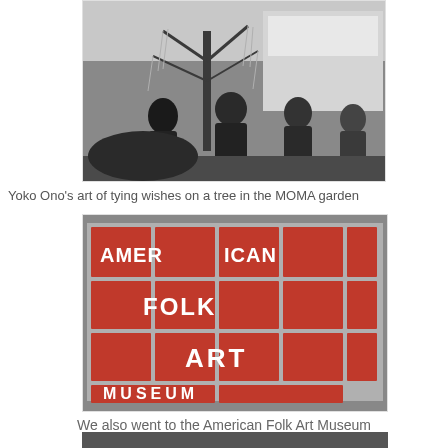[Figure (photo): Black and white photo of people tying wishes on a tree installation, Yoko Ono art at MOMA garden]
Yoko Ono's art of tying wishes on a tree in the MOMA garden
[Figure (photo): Color photo of American Folk Art Museum sign with red tiled grid and white bold letters]
We also went to the American Folk Art Museum
[Figure (photo): Partial photo at bottom of page, dark interior scene]